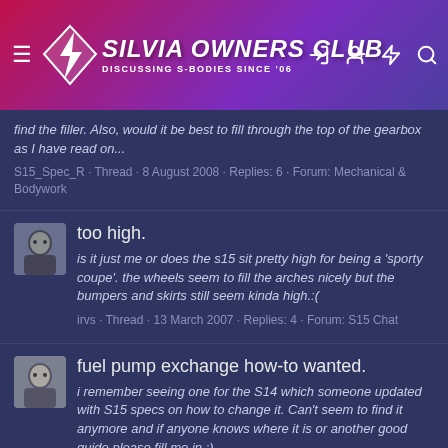[Figure (logo): Silvia Owners Club website header with logo, navigation hamburger menu, and icons on a red-to-purple gradient background]
find the filler. Also, would it be best to fill through the top of the gearbox as I have read on...
S15_Spec_R · Thread · 8 August 2008 · Replies: 6 · Forum: Mechanical & Bodywork
too high.
is it just me or does the s15 sit pretty high for being a 'sporty coupe'. the wheels seem to fill the arches nicely but the bumpers and skirts still seem kinda high.:(
irvs · Thread · 13 March 2007 · Replies: 4 · Forum: S15 Chat
fuel pump exchange how-to wanted.
i remember seeing one for the S14 which someone updated with S15 specs on how to change it. Can't seem to find it anymore and if anyone knows where it is or another good guide please fill me in :)
Yakooze · Thread · 24 March 2006 · Replies: 4 · Forum: ...